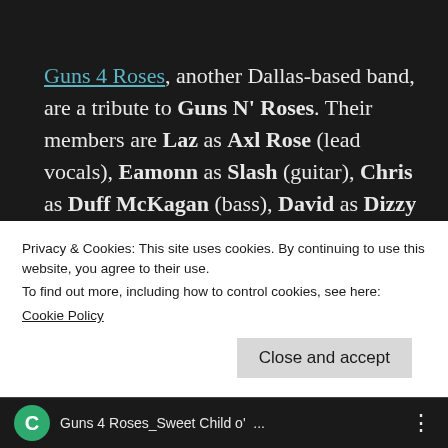Guns 4 Roses, another Dallas-based band, are a tribute to Guns N' Roses. Their members are Laz as Axl Rose (lead vocals), Eamonn as Slash (guitar), Chris as Duff McKagan (bass), David as Dizzy Reed (keyboards), Martin as Steven Adler (drums) and Chris as Izzy Stradlin (guitar). Here's Sweet Child o' Mine from Guns N' Roses' debut album Appetite for Destruction released in July
Privacy & Cookies: This site uses cookies. By continuing to use this website, you agree to their use.
To find out more, including how to control cookies, see here:
Cookie Policy
Close and accept
Guns 4 Roses_Sweet Child o' ...